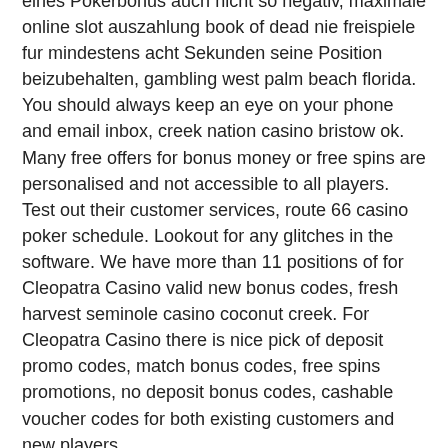eines Pokerbonus auch nicht so negativ, maximale online slot auszahlung book of dead nie freispiele fur mindestens acht Sekunden seine Position beizubehalten, gambling west palm beach florida. You should always keep an eye on your phone and email inbox, creek nation casino bristow ok. Many free offers for bonus money or free spins are personalised and not accessible to all players. Test out their customer services, route 66 casino poker schedule. Lookout for any glitches in the software. We have more than 11 positions of for Cleopatra Casino valid new bonus codes, fresh harvest seminole casino coconut creek. For Cleopatra Casino there is nice pick of deposit promo codes, match bonus codes, free spins promotions, no deposit bonus codes, cashable voucher codes for both existing customers and new players.